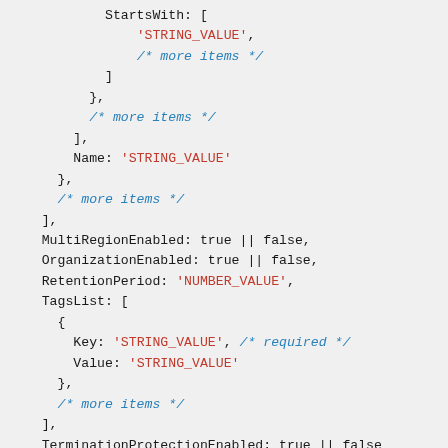Code snippet showing AWS CloudTrail createEventDataStore params with StartsWith, Name, MultiRegionEnabled, OrganizationEnabled, RetentionPeriod, TagsList, TerminationProtectionEnabled fields, followed by cloudtrail.createEventDataStore call.